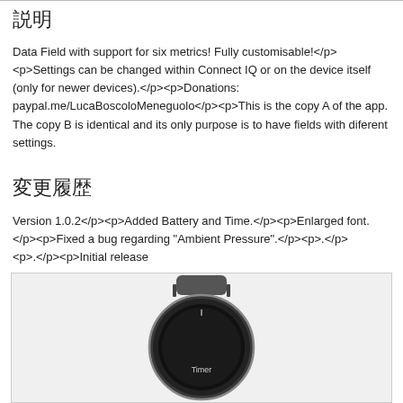説明
Data Field with support for six metrics! Fully customisable!</p><p>Settings can be changed within Connect IQ or on the device itself (only for newer devices).</p><p>Donations: paypal.me/LucaBoscoloMeneguolo</p><p>This is the copy A of the app. The copy B is identical and its only purpose is to have fields with diferent settings.
変更履歴
Version 1.0.2</p><p>Added Battery and Time.</p><p>Enlarged font.</p><p>Fixed a bug regarding "Ambient Pressure".</p><p>.</p><p>.</p><p>Initial release
[Figure (photo): Photo of a smartwatch showing a data field screen with 'Timer' label visible at the bottom of the watch face.]